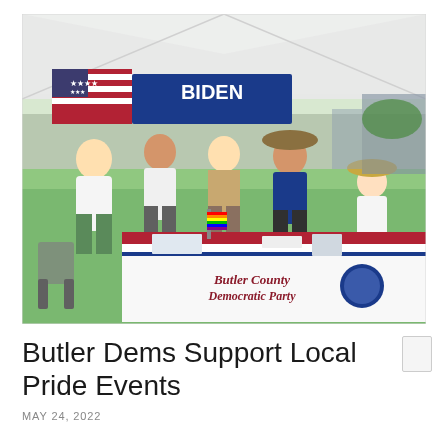[Figure (photo): Group of people standing behind a table covered with a banner reading 'Butler County Democratic Party' at an outdoor pride event. A white canopy tent is visible in the background along with an American flag and a Biden campaign banner. People are wearing white Democrat t-shirts. Rainbow pride flags and pamphlets are on the table. Green grass is visible in the background.]
Butler Dems Support Local Pride Events
MAY 24, 2022